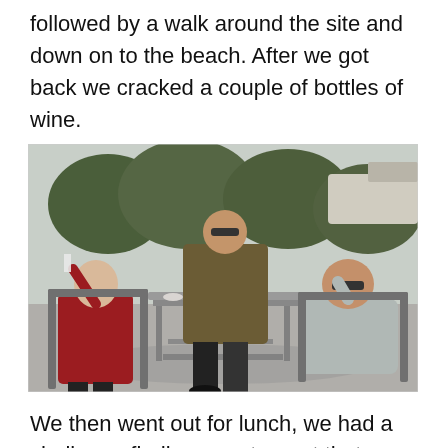followed by a walk around the site and down on to the beach. After we got back we cracked a couple of bottles of wine.
[Figure (photo): Three people sitting and standing around a metal patio table outdoors, with wine glasses and bowls on the table. A woman in red on the left, a man in brown sweater standing in the middle, and a man in a grey shirt reclining on the right. Trees and a caravan/vehicle visible in the background.]
We then went out for lunch, we had a challenge finding a restaurant that was open. There were lots of bars open and very full but the majority of the restaurants